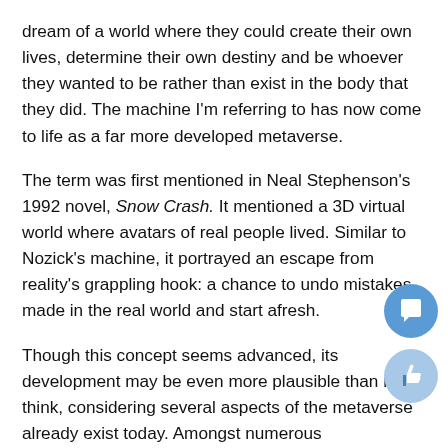dream of a world where they could create their own lives, determine their own destiny and be whoever they wanted to be rather than exist in the body that they did. The machine I'm referring to has now come to life as a far more developed metaverse.
The term was first mentioned in Neal Stephenson's 1992 novel, Snow Crash. It mentioned a 3D virtual world where avatars of real people lived. Similar to Nozick's machine, it portrayed an escape from reality's grappling hook: a chance to undo mistakes made in the real world and start afresh.
Though this concept seems advanced, its development may be even more plausible than most think, considering several aspects of the metaverse already exist today. Amongst numerous advancements in technology over the years are augmented and virtual reality. Augmented reality refers to virtual items which are overlaid in a real-world environment while virtual reality is responsible for the creation of a fully